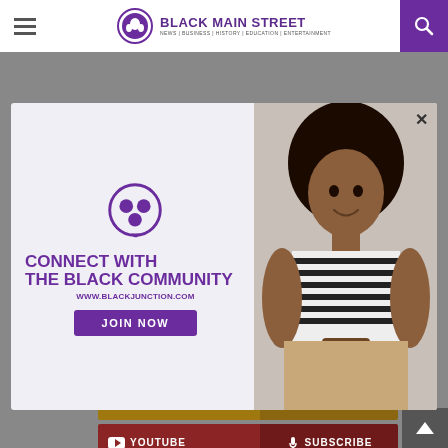BLACK MAIN STREET | NEWS | BUSINESS | HISTORY | EDUCATION | ENTERTAINMENT
[Figure (screenshot): Modal popup advertisement for BlackJunction.com showing 'CONNECT WITH THE BLACK COMMUNITY' with a purple logo icon, website URL www.blackjunction.com, JOIN NOW button, and a photo of a smiling young Black woman with natural hair wearing a striped turtleneck holding a phone]
[Figure (infographic): Instagram social bar with gold/brown background showing INSTAGRAM icon and FOLLOW button]
[Figure (infographic): YouTube social bar with dark red background showing YOUTUBE icon and SUBSCRIBE button]